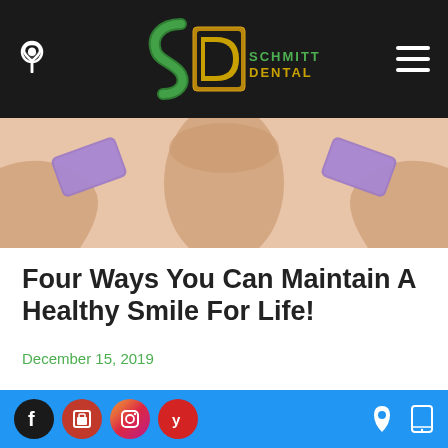Schmitt Dental — navigation bar with logo, location icon, and hamburger menu
[Figure (photo): Hero image showing a person holding two purple/lavender dental items near their neck/chin area]
Four Ways You Can Maintain A Healthy Smile For Life!
December 15, 2019
[Figure (photo): Partial photo of a smiling person, cropped at bottom of page]
Footer with social media icons (Facebook, Google, Instagram, Yelp) and location/mobile icons